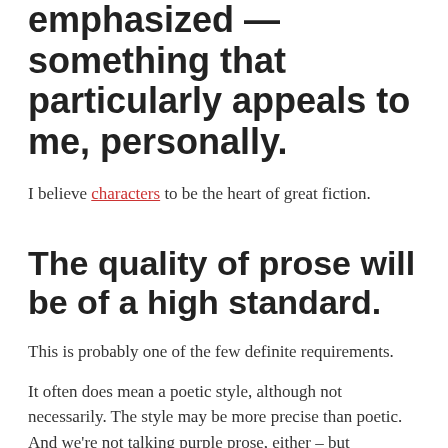emphasized — something that particularly appeals to me, personally.
I believe characters to be the heart of great fiction.
The quality of prose will be of a high standard.
This is probably one of the few definite requirements.
It often does mean a poetic style, although not necessarily. The style may be more precise than poetic. And we're not talking purple prose, either – but genuinely fine writing.
For an example of what I would consider to be quality